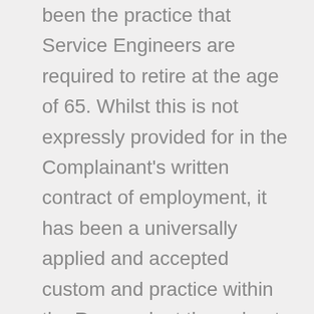been the practice that Service Engineers are required to retire at the age of 65. Whilst this is not expressly provided for in the Complainant's written contract of employment, it has been a universally applied and accepted custom and practice within the Respondent throughout the period of the Complainant's employment. The Respondent further submits this practice is reflected in the Respondent's Handbook, including its Retirement and Death Benefits Plan, initially compiled in 2004 and further updated versions of which were circulated to all staff of the Respondent in 2006, 2016 and 2020. The Respondent submits that in each version of the Employee Handbook, the Respondent's